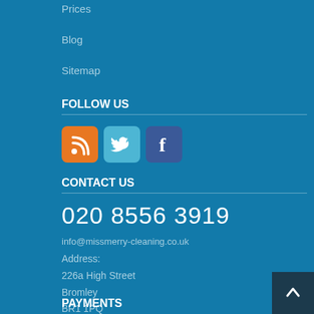Prices
Blog
Sitemap
FOLLOW US
[Figure (illustration): Three social media icons: RSS feed (orange), Twitter (light blue), Facebook (dark blue)]
CONTACT US
020 8556 3919
info@missmerry-cleaning.co.uk
Address:
226a High Street
Bromley
BR1 1PQ
London, UK
PAYMENTS